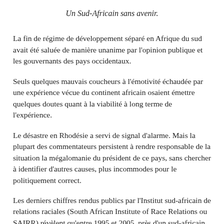Un Sud-Africain sans avenir.
La fin de régime de développement séparé en Afrique du sud avait été saluée de manière unanime par l'opinion publique et les gouvernants des pays occidentaux.
Seuls quelques mauvais coucheurs à l'émotivité échaudée par une expérience vécue du continent africain osaient émettre quelques doutes quant à la viabilité à long terme de l'expérience.
Le désastre en Rhodésie a servi de signal d'alarme. Mais la plupart des commentateurs persistent à rendre responsable de la situation la mégalomanie du président de ce pays, sans chercher à identifier d'autres causes, plus incommodes pour le politiquement correct.
Les derniers chiffres rendus publics par l'Institut sud-africain de relations raciales (South African Institute of Race Relations ou SAIRR) révèlent qu'entre 1995 et 2005, près d'un sud-africain blanc sur cinq a quitté le pays. Un million